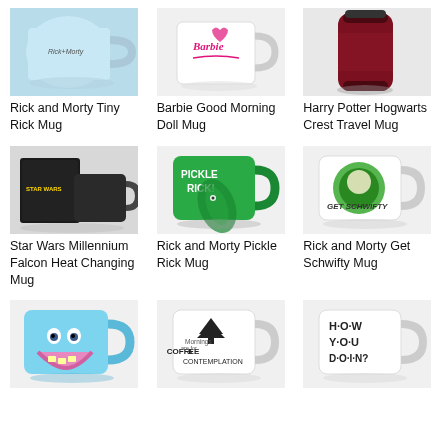[Figure (photo): Rick and Morty Tiny Rick Mug - light blue mug with Rick and Morty branding]
Rick and Morty Tiny Rick Mug
[Figure (photo): Barbie Good Morning Doll Mug - white mug with Barbie logo]
Barbie Good Morning Doll Mug
[Figure (photo): Harry Potter Hogwarts Crest Travel Mug - dark red travel mug]
Harry Potter Hogwarts Crest Travel Mug
[Figure (photo): Star Wars Millennium Falcon Heat Changing Mug - black boxed mug]
Star Wars Millennium Falcon Heat Changing Mug
[Figure (photo): Rick and Morty Pickle Rick Mug - green mug with pickle rick graphic]
Rick and Morty Pickle Rick Mug
[Figure (photo): Rick and Morty Get Schwifty Mug - white mug with Get Schwifty graphic]
Rick and Morty Get Schwifty Mug
[Figure (photo): Rick and Morty Mr. Meeseeks Mug - light blue mug with Mr. Meeseeks face]
[Figure (photo): Coffee and Contemplation Mug - white mug with coffee text]
[Figure (photo): How You Doin? Friends mug - white mug with How You Doin? text]